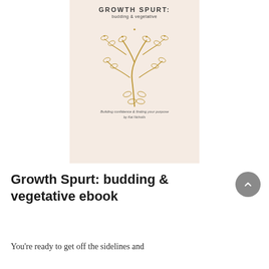[Figure (illustration): Book cover with light pink/beige background showing a stylized golden botanical branch illustration with budding leaves. Title reads 'GROWTH SPURT:' with subtitle 'budding & vegetative', tagline 'Building confidence & finding your purpose', and author 'by Kat Nicholls']
Growth Spurt: budding & vegetative ebook
You're ready to get off the sidelines and